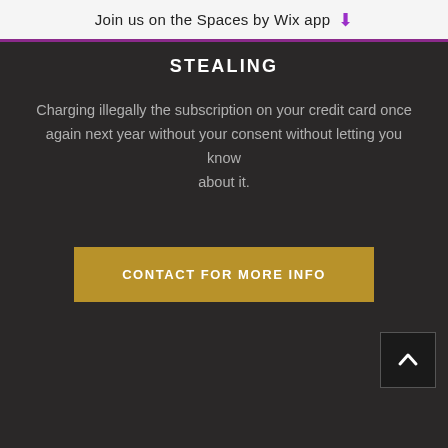Join us on the Spaces by Wix app
STEALING
Charging illegally the subscription on your credit card once again next year without your consent without letting you know about it.
CONTACT FOR MORE INFO